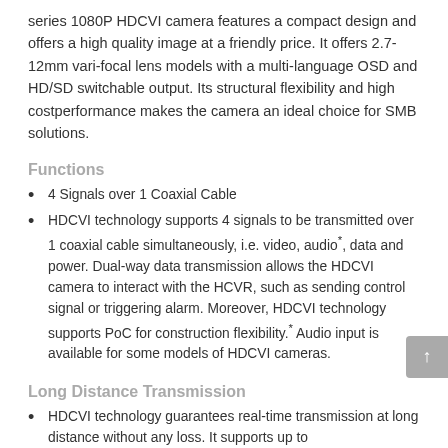series 1080P HDCVI camera features a compact design and offers a high quality image at a friendly price. It offers 2.7-12mm vari-focal lens models with a multi-language OSD and HD/SD switchable output. Its structural flexibility and high costperformance makes the camera an ideal choice for SMB solutions.
Functions
4 Signals over 1 Coaxial Cable
HDCVI technology supports 4 signals to be transmitted over 1 coaxial cable simultaneously, i.e. video, audio*, data and power. Dual-way data transmission allows the HDCVI camera to interact with the HCVR, such as sending control signal or triggering alarm. Moreover, HDCVI technology supports PoC for construction flexibility.* Audio input is available for some models of HDCVI cameras.
Long Distance Transmission
HDCVI technology guarantees real-time transmission at long distance without any loss. It supports up to 800m(1080P)/1200m(720P) transmission via coaxial cable, and up to 300m(1080P)/450m(720P) via UTP cable.* Actual